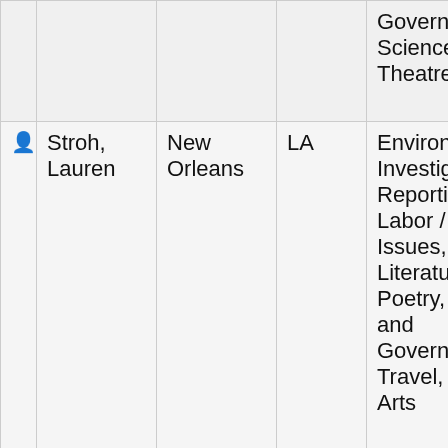|  | Name | City | State | Beats | Services |
| --- | --- | --- | --- | --- | --- |
|  |  |  |  | Government, Science, Theatre, Travel | Speech, Substance, Editing, Writing |
| 👤 | Stroh, Lauren | New Orleans | LA | Environment, Investigative Reporting, Labor / Workers Issues, Literature, Poetry, Politics and Government, Travel, Visual Arts | Book, Copy-, Feature, Journalism, Magazine, Newspaper, Writing, Writing, Photo, Proofreading, Transcription, Translation |